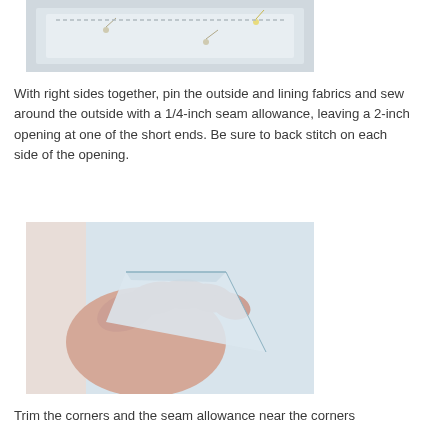[Figure (photo): Fabric pinned with sewing pins, light blue/grey material being prepared for sewing]
With right sides together, pin the outside and lining fabrics and sew around the outside with a 1/4-inch seam allowance, leaving a 2-inch opening at one of the short ends. Be sure to back stitch on each side of the opening.
[Figure (photo): Hand holding a corner of light blue fabric showing trimmed seam allowance at the corner]
Trim the corners and the seam allowance near the corners